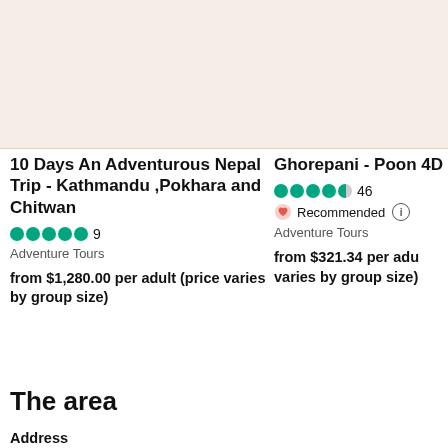[Figure (photo): Top image placeholder for tour listing 1 - light pinkish beige background]
[Figure (photo): Top image placeholder for tour listing 2 - light pinkish beige background]
10 Days An Adventurous Nepal Trip - Kathmandu ,Pokhara and Chitwan
9 reviews, 5 stars, Adventure Tours, from $1,280.00 per adult (price varies by group size)
Ghorepani - Poon 4D
46 reviews, 4.5 stars, Recommended, Adventure Tours, from $321.34 per adult (price varies by group size)
The area
Address
Baidam Road Lakeside, Lalupatemara, Pokhara